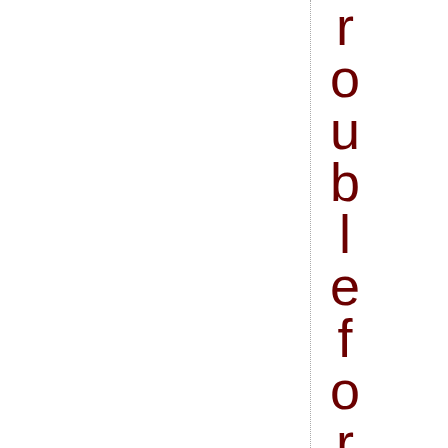[Figure (other): Vertical dotted line dividing the page, with large dark red letters spelling 'roublefore' vertically along the right side of the line]
roublefore